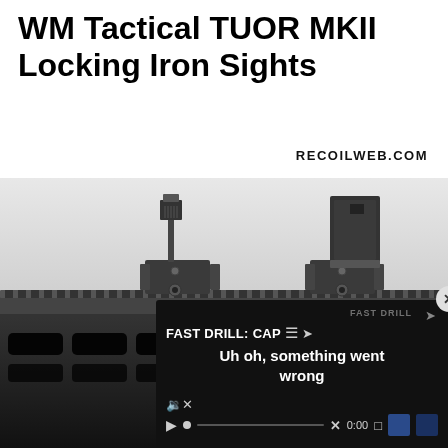WM Tactical TUOR MKII Locking Iron Sights
RECOILWEB.COM
[Figure (photo): Close-up photo of WM Tactical TUOR MKII locking iron sights mounted on a Picatinny rail, showing both front and rear sights in folded/deployed positions on a rifle handguard]
[Figure (screenshot): Video player overlay showing 'FAST DRILL: CAP' title with error message 'Uh oh, something went wrong', with playback controls at 0:00]